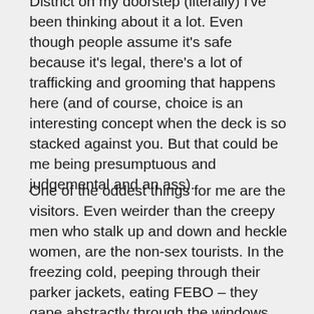District on my doorstep (literally) I've been thinking about it a lot. Even though people assume it's safe because it's legal, there's a lot of trafficking and grooming that happens here (and of course, choice is an interesting concept when the deck is so stacked against you. But that could be me being presumptuous and judgemental and an ass).
One of the oddest things for me are the visitors. Even weirder than the creepy men who stalk up and down and heckle women, are the non-sex tourists. In the freezing cold, peeping through their parker jackets, eating FEBO – they gape abstractly through the windows as if they were at the